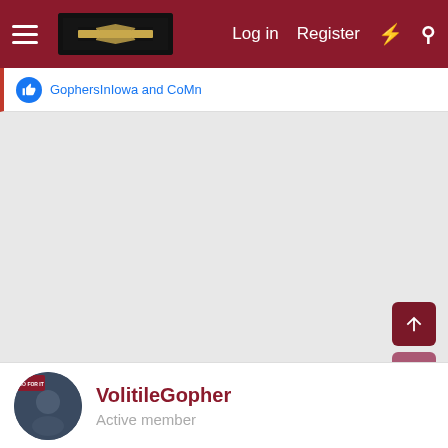Log in  Register
GophersInIowa and CoMn
[Figure (screenshot): Empty gray content area of a forum page]
VolitileGopher
Active member